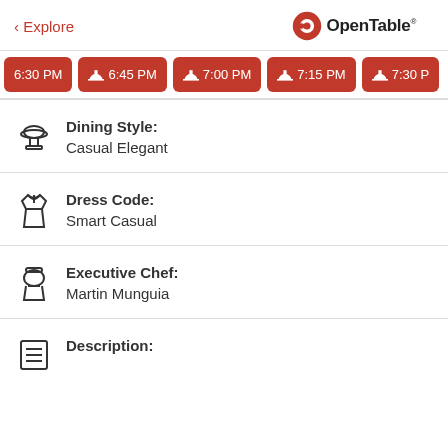< Explore | OpenTable
[Figure (screenshot): Row of red reservation time buttons: 6:30 PM, 6:45 PM, 7:00 PM, 7:15 PM, 7:30 PM]
Dining Style: Casual Elegant
Dress Code: Smart Casual
Executive Chef: Martin Munguia
Description: